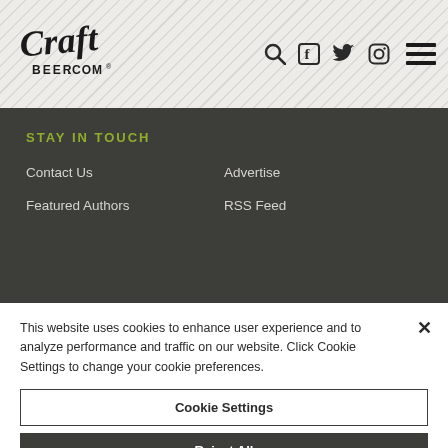[Figure (logo): CraftBeer.com logo in dark handwritten style with BEER.COM text]
Search, Facebook, Twitter, Instagram icons and hamburger menu
STAY IN TOUCH
Contact Us
Advertise
Featured Authors
RSS Feed
This website uses cookies to enhance user experience and to analyze performance and traffic on our website. Click Cookie Settings to change your cookie preferences.
Cookie Settings
Reject All
Accept All Cookies